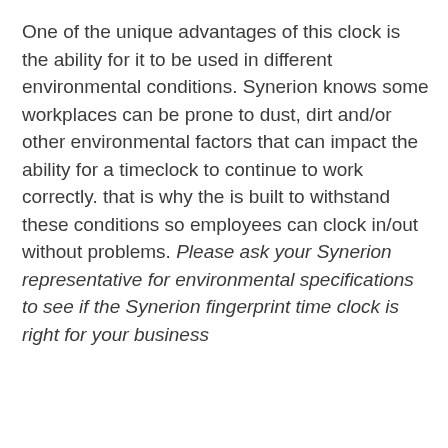One of the unique advantages of this clock is the ability for it to be used in different environmental conditions. Synerion knows some workplaces can be prone to dust, dirt and/or other environmental factors that can impact the ability for a timeclock to continue to work correctly. that is why the is built to withstand these conditions so employees can clock in/out without problems. Please ask your Synerion representative for environmental specifications to see if the Synerion fingerprint time clock is right for your business